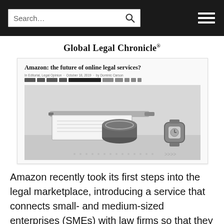Search...
Global Legal Chronicle®
[Figure (screenshot): Screenshot of a Global Legal Chronicle article titled 'Amazon: the future of online legal services?' with a photo of an Amazon Echo device, a pen, and a watch on a white background.]
Amazon recently took its first steps into the legal marketplace, introducing a service that connects small- and medium-sized enterprises (SMEs) with law firms so that they can secure trademark and